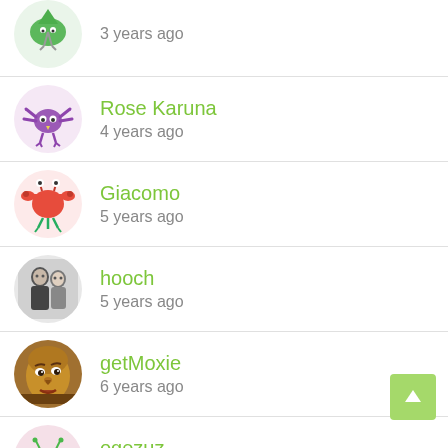3 years ago
Rose Karuna
4 years ago
Giacomo
5 years ago
hooch
5 years ago
getMoxie
6 years ago
ogezuz
6 years ago